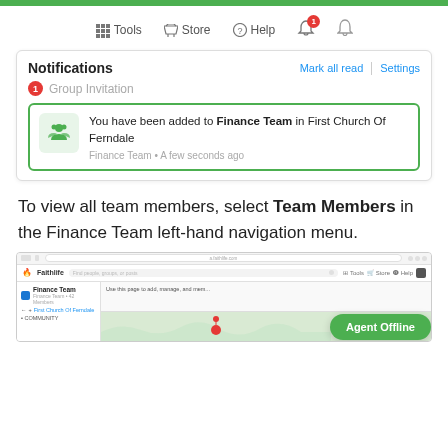[Figure (screenshot): Navigation bar with Tools, Store, Help, notification bell with badge showing 1]
[Figure (screenshot): Notifications panel showing 'You have been added to Finance Team in First Church Of Ferndale' with green border card, Mark all read and Settings links]
To view all team members, select Team Members in the Finance Team left-hand navigation menu.
[Figure (screenshot): Faithlife browser screenshot showing Finance Team page with Agent Offline button overlay]